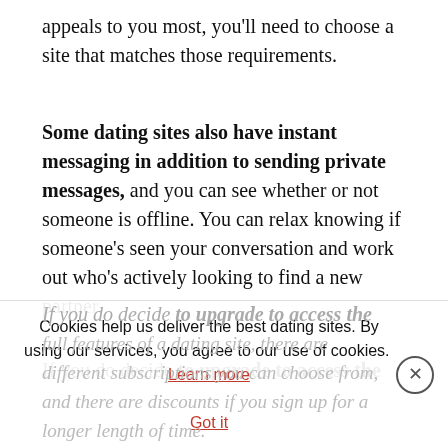appeals to you most, you'll need to choose a site that matches those requirements.
Some dating sites also have instant messaging in addition to sending private messages, and you can see whether or not someone is offline. You can relax knowing if someone's seen your conversation and work out who's actively looking to find a new partner.
If you do decide to upgrade to access the full features of a dating site, there are different subscriptions you can choose from, and there are discounts if you sign up for a longer length of time.
Cookies help us deliver the best dating sites. By using our services, you agree to our use of cookies. Learn more  Got it